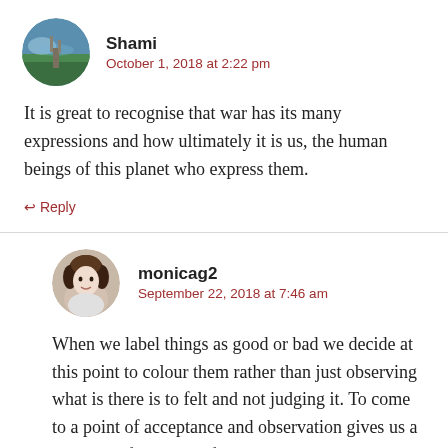[Figure (photo): Circular avatar of user Shami showing a landscape with mountains, lake, and road]
Shami
October 1, 2018 at 2:22 pm
It is great to recognise that war has its many expressions and how ultimately it is us, the human beings of this planet who express them.
↩ Reply
[Figure (photo): Circular avatar of user monicag2 showing a woman with curly dark hair]
monicag2
September 22, 2018 at 7:46 am
When we label things as good or bad we decide at this point to colour them rather than just observing what is there is to felt and not judging it. To come to a point of acceptance and observation gives us a space and freedom to feel